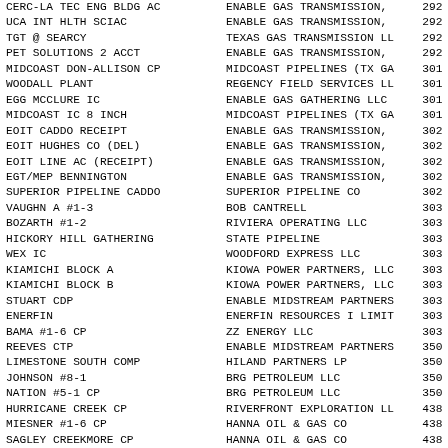| Location | Operator | Code |
| --- | --- | --- |
| CERC-LA TEC ENG BLDG AC | ENABLE GAS TRANSMISSION, | 292 |
| UCA INT HLTH SCIAC | ENABLE GAS TRANSMISSION, | 292 |
| TGT @ SEARCY | TEXAS GAS TRANSMISSION LL | 292 |
| PET SOLUTIONS 2 ACCT | ENABLE GAS TRANSMISSION, | 292 |
| MIDCOAST DON-ALLISON CP | MIDCOAST PIPELINES (TX GA | 301 |
| WOODALL PLANT | REGENCY FIELD SERVICES LL | 301 |
| EGG MCCLURE IC | ENABLE GAS GATHERING LLC | 301 |
| MIDCOAST IC 8 INCH | MIDCOAST PIPELINES (TX GA | 301 |
| EOIT CADDO RECEIPT | ENABLE GAS TRANSMISSION, | 302 |
| EOIT HUGHES CO (DEL) | ENABLE GAS TRANSMISSION, | 302 |
| EOIT LINE AC (RECEIPT) | ENABLE GAS TRANSMISSION, | 302 |
| EGT/MEP BENNINGTON | ENABLE GAS TRANSMISSION, | 302 |
| SUPERIOR PIPELINE CADDO | SUPERIOR PIPELINE CO | 302 |
| VAUGHN A #1-3 | BOB CANTRELL | 303 |
| BOZARTH #1-2 | RIVIERA OPERATING LLC | 303 |
| HICKORY HILL GATHERING | STATE PIPELINE | 303 |
| WEX IC | WOODFORD EXPRESS LLC | 303 |
| KIAMICHI BLOCK A | KIOWA POWER PARTNERS, LLC | 303 |
| KIAMICHI BLOCK B | KIOWA POWER PARTNERS, LLC | 303 |
| STUART CDP | ENABLE MIDSTREAM PARTNERS | 303 |
| ENERFIN | ENERFIN RESOURCES I LIMIT | 303 |
| BAMA #1-6 CP | ZZ ENERGY LLC | 303 |
| REEVES CTP | ENABLE MIDSTREAM PARTNERS | 350 |
| LIMESTONE SOUTH COMP | HILAND PARTNERS LP | 350 |
| JOHNSON #8-1 | BRG PETROLEUM LLC | 350 |
| NATION #5-1 CP | BRG PETROLEUM LLC | 350 |
| HURRICANE CREEK CP | RIVERFRONT EXPLORATION LL | 438 |
| MIESNER #1-6 CP | HANNA OIL & GAS CO | 438 |
| SAGLEY CREEKMORE CP | HANNA OIL & GAS CO | 438 |
| GERDAU MACSTEEL | GERDAU MACSTEEL INC | 438 |